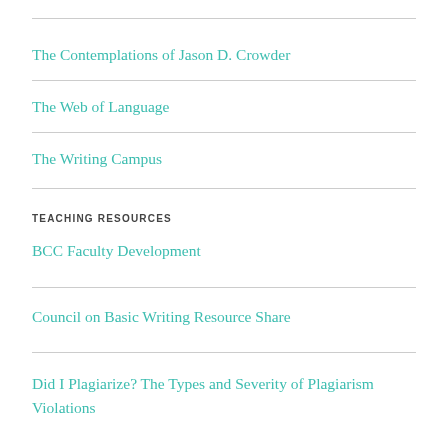The Contemplations of Jason D. Crowder
The Web of Language
The Writing Campus
TEACHING RESOURCES
BCC Faculty Development
Council on Basic Writing Resource Share
Did I Plagiarize? The Types and Severity of Plagiarism Violations